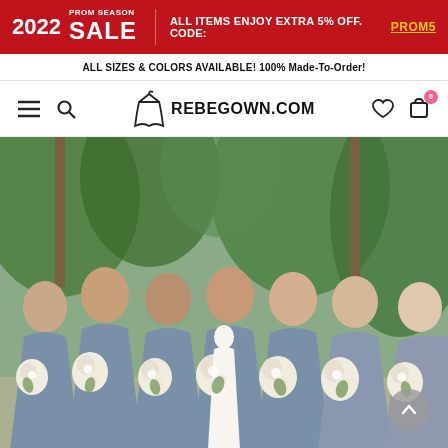2022 PROM SEASON SALE — ALL ITEMS ENJOY EXTRA 5% OFF. CODE: PROM5
ALL SIZES & COLORS AVAILABLE! 100% Made-To-Order!
REBEGOWN.COM
[Figure (photo): Group of seven bridesmaids wearing matching strapless dusty blue/slate chiffon floor-length gowns, each holding white floral bouquets with greenery, standing outdoors with palm trees and lush greenery in the background.]